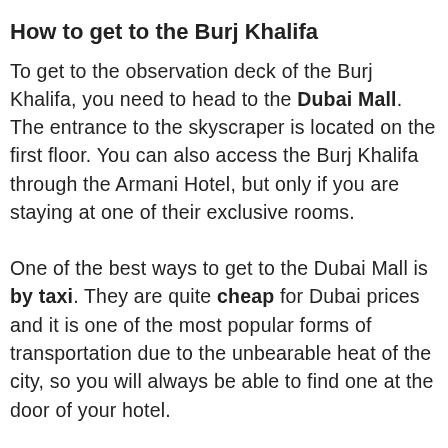How to get to the Burj Khalifa
To get to the observation deck of the Burj Khalifa, you need to head to the Dubai Mall. The entrance to the skyscraper is located on the first floor. You can also access the Burj Khalifa through the Armani Hotel, but only if you are staying at one of their exclusive rooms.
One of the best ways to get to the Dubai Mall is by taxi. They are quite cheap for Dubai prices and it is one of the most popular forms of transportation due to the unbearable heat of the city, so you will always be able to find one at the door of your hotel.